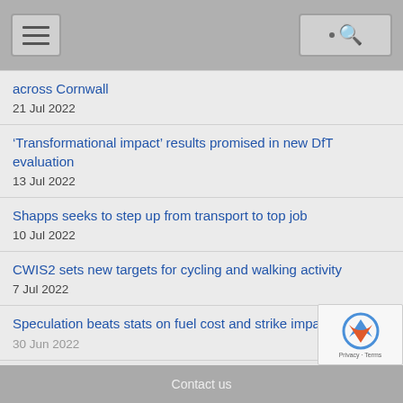Navigation bar with hamburger menu and search icon
across Cornwall
21 Jul 2022
‘Transformational impact’ results promised in new DfT evaluation
13 Jul 2022
Shapps seeks to step up from transport to top job
10 Jul 2022
CWIS2 sets new targets for cycling and walking activity
7 Jul 2022
Speculation beats stats on fuel cost and strike impacts
30 Jun 2022
Contact us